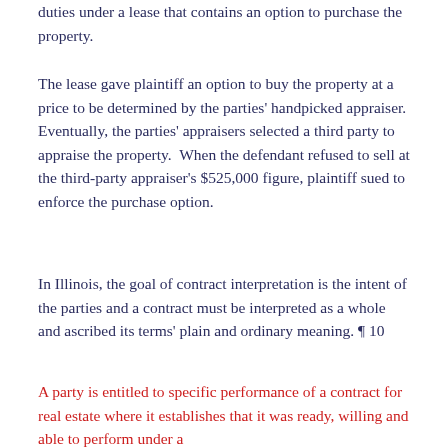duties under a lease that contains an option to purchase the property.
The lease gave plaintiff an option to buy the property at a price to be determined by the parties' handpicked appraiser. Eventually, the parties' appraisers selected a third party to appraise the property.  When the defendant refused to sell at the third-party appraiser's $525,000 figure, plaintiff sued to enforce the purchase option.
In Illinois, the goal of contract interpretation is the intent of the parties and a contract must be interpreted as a whole and ascribed its terms' plain and ordinary meaning. ¶ 10
A party is entitled to specific performance of a contract for real estate where it establishes that it was ready, willing and able to perform under a